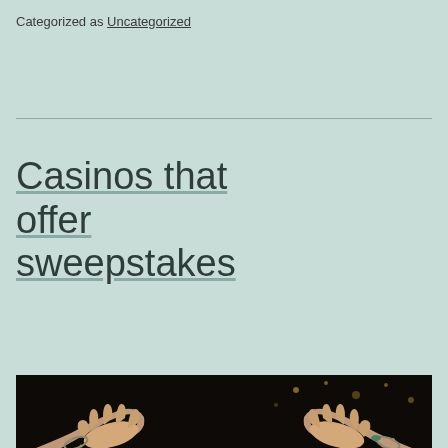Categorized as Uncategorized
Casinos that offer sweepstakes
[Figure (photo): A person's hands with bracelets/jewelry, outstretched palms facing upward against a dark background with bokeh lights]